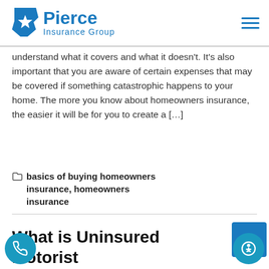Pierce Insurance Group
understand what it covers and what it doesn't. It's also important that you are aware of certain expenses that may be covered if something catastrophic happens to your home. The more you know about homeowners insurance, the easier it will be for you to create a […]
basics of buying homeowners insurance, homeowners insurance
What is Uninsured Motorist Insurance in Texas?